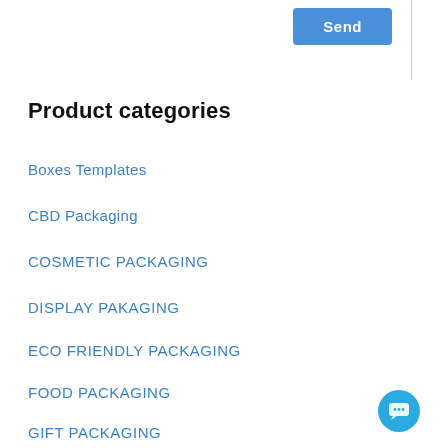[Figure (screenshot): Blue 'Send' button in upper right area of a webpage UI, with a vertical divider line to the right]
Product categories
Boxes Templates
CBD Packaging
COSMETIC PACKAGING
DISPLAY PAKAGING
ECO FRIENDLY PACKAGING
FOOD PACKAGING
GIFT PACKAGING
RETAIL PACKAGING
[Figure (other): Blue circular chat bubble icon in bottom right corner]